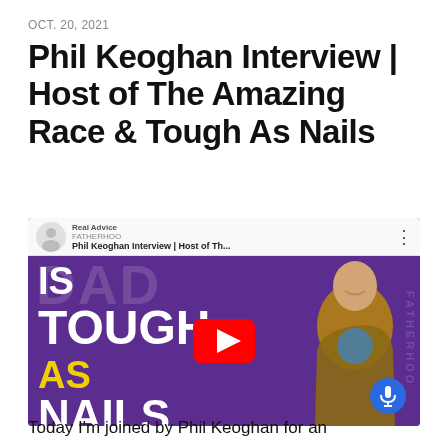OCT. 20, 2021
Phil Keoghan Interview | Host of The Amazing Race & Tough As Nails
[Figure (screenshot): YouTube video thumbnail showing Phil Keoghan Interview | Host of Th... with purple background text reading 'DAD IS TOUGH AS NAILS' and a man in a leather jacket on the right side, with a red YouTube play button in the center. Channel icon and name visible in the top bar. Blue microphone button in the bottom right corner.]
Today I'm joined by Phil Keoghan for an